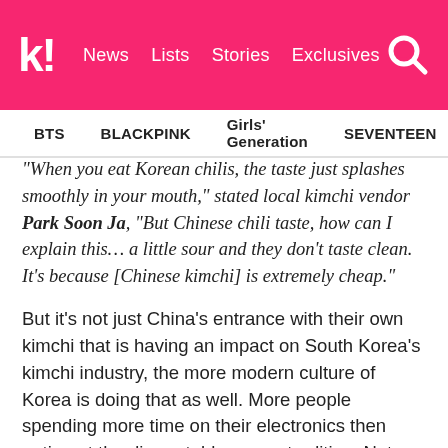k! News  Lists  Stories  Exclusives
BTS  BLACKPINK  Girls' Generation  SEVENTEEN  TWICE
“When you eat Korean chilis, the taste just splashes smoothly in your mouth,” stated local kimchi vendor Park Soon Ja, “But Chinese chili taste, how can I explain this… a little sour and they don’t taste clean. It’s because [Chinese kimchi] is extremely cheap.”
But it’s not just China’s entrance with their own kimchi that is having an impact on South Korea’s kimchi industry, the more modern culture of Korea is doing that as well. More people spending more time on their electronics then eating at the dinner table as per tradition. Not only that, youngsters barely eat kimchi and